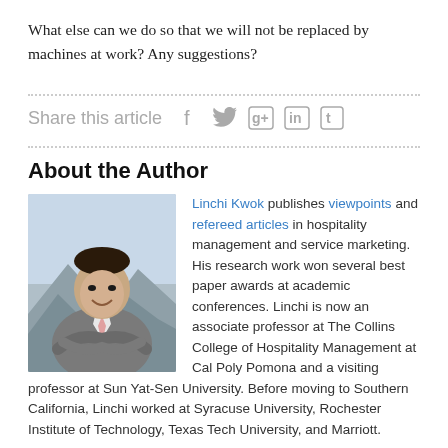What else can we do so that we will not be replaced by machines at work? Any suggestions?
Share this article
About the Author
[Figure (photo): Headshot of Linchi Kwok, a man in a grey suit with arms crossed, smiling, with a mountainous background.]
Linchi Kwok publishes viewpoints and refereed articles in hospitality management and service marketing. His research work won several best paper awards at academic conferences. Linchi is now an associate professor at The Collins College of Hospitality Management at Cal Poly Pomona and a visiting professor at Sun Yat-Sen University. Before moving to Southern California, Linchi worked at Syracuse University, Rochester Institute of Technology, Texas Tech University, and Marriott.